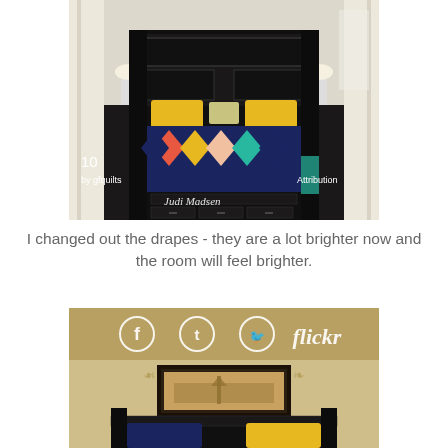[Figure (photo): Bedroom photo showing black four-poster bed with colorful geometric quilt in navy, coral, teal and yellow, yellow accent pillows, white curtains. Shows number 10, credit 'by gfquilts', 'Attribution', and 'Judi Madsen' watermark.]
I changed out the drapes - they are a lot brighter now and the room will feel brighter.
[Figure (photo): Bedroom photo showing beige/tan wall with framed panoramic temple art, black bed headboard with posts visible at bottom, yellow and navy pillows. Social media icons overlay at top: Facebook, Tumblr, Twitter circles and Flickr logo in white.]